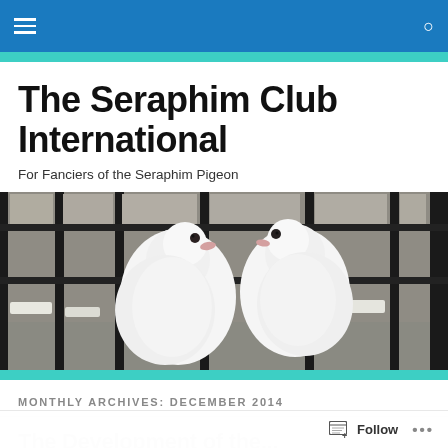The Seraphim Club International
The Seraphim Club International
For Fanciers of the Seraphim Pigeon
[Figure (photo): Two white Seraphim pigeons perched side by side in front of a metal fence/grate, outdoors in winter with snow visible in the background.]
MONTHLY ARCHIVES: DECEMBER 2014
The Development of the...